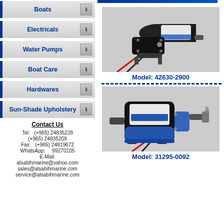Boats
Electricals
Water Pumps
Boat Care
Hardwares
Sun-Shade Upholstery
Contact Us
Tel:   (+965) 24835228
(+965) 24835209
Fax:   (+965) 24819672
WhatsApp:     99270105
E-Mail:
alsabihmarine@yahoo.com
sales@alsabihmarine.com
service@alsabihmarine.com
[Figure (photo): Water pump product photo - Model 42630-2900]
Model: 42630-2900
[Figure (photo): Water pump product photo - Model 31295-0092]
Model: 31295-0092